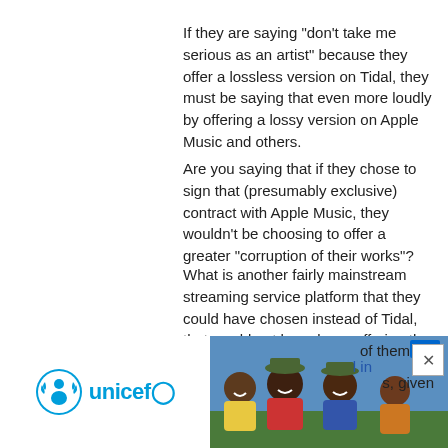If they are saying "don't take me serious as an artist" because they offer a lossless version on Tidal, they must be saying that even more loudly by offering a lossy version on Apple Music and others.
Are you saying that if they chose to sign that (presumably exclusive) contract with Apple Music, they wouldn't be choosing to offer a greater "corruption of their works"?
What is another fairly mainstream streaming service platform that they could have chosen instead of Tidal, that would not have been offering the same "corruption of their works"? Lossless is lossless. Even if you can identify another, a lossless song there is going to be exactly the same as it is on Tidal.
And how did they "sell out" with Tidal but would not "sell out" had they chosen to offer their music with any other middleman business, including Apple?
Lots of musicians trying to do it as a career are wanting to
[Figure (other): UNICEF advertisement banner at the bottom of the page showing the UNICEF logo on the left and a photo of smiling African children on the right, with a close (X) button.]